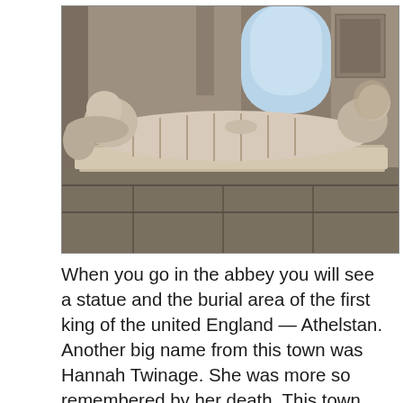[Figure (photo): A stone effigy/tomb sculpture inside an abbey, showing a reclining figure carved in stone lying on a sarcophagus. The figure appears to be wearing robes and the tomb has decorative stone panels. The interior of the abbey is visible in the background with arched doorways.]
When you go in the abbey you will see a statue and the burial area of the first king of the united England — Athelstan. Another big name from this town was Hannah Twinage. She was more so remembered by her death. This town was having a circus and a tiger got loose and ended up mauling this lady.